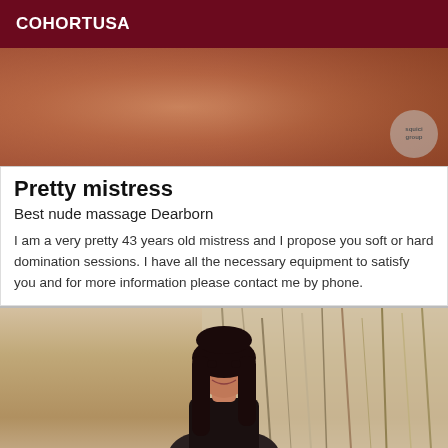COHORTUSA
[Figure (photo): Close-up photo of a person's upper body/shoulders, warm skin tones, with a small circular watermark logo reading 'squicigroup' in the bottom right corner]
Pretty mistress
Best nude massage Dearborn
I am a very pretty 43 years old mistress and I propose you soft or hard domination sessions. I have all the necessary equipment to satisfy you and for more information please contact me by phone.
[Figure (photo): Photo of a woman with long dark hair, smiling, wearing dark clothing, standing in front of a decorative background with dried reeds or palm fronds in beige/brown tones]